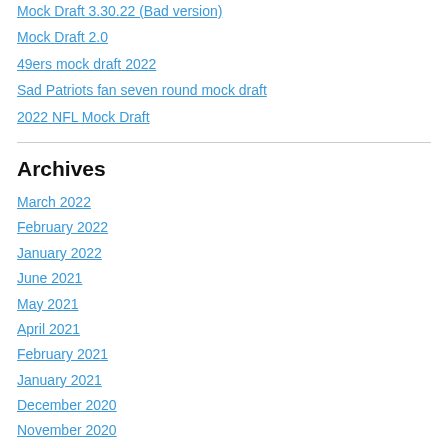Mock Draft 3.30.22 (Bad version)
Mock Draft 2.0
49ers mock draft 2022
Sad Patriots fan seven round mock draft
2022 NFL Mock Draft
Archives
March 2022
February 2022
January 2022
June 2021
May 2021
April 2021
February 2021
January 2021
December 2020
November 2020
October 2020